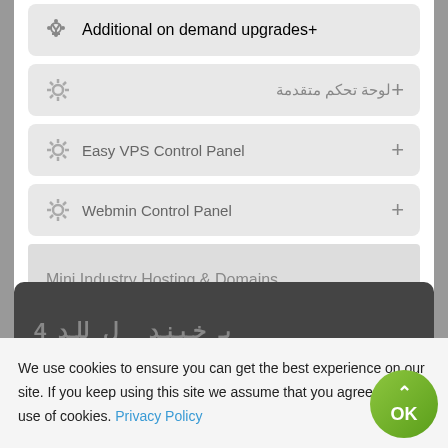Additional on demand upgrades
لوحة تحكم متقدمة
Easy VPS Control Panel
Webmin Control Panel
Mini Industry Hosting & Domains
We use cookies to ensure you can get the best experience on our site. If you keep using this site we assume that you agree to our use of cookies. Privacy Policy